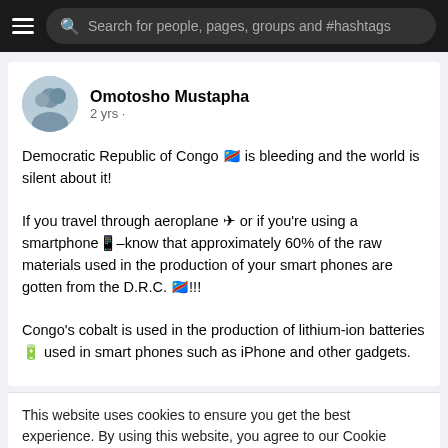Search for people, pages, groups and #hashtags
Omotosho Mustapha
2 yrs ·
Democratic Republic of Congo 🇨🇩 is bleeding and the world is silent about it!

If you travel through aeroplane ✈ or if you're using a smartphone📱–know that approximately 60% of the raw materials used in the production of your smart phones are gotten from the D.R.C. 🇨🇩!!!   

Congo's cobalt is used in the production of lithium-ion batteries🔋 used in smart phones such as iPhone and other gadgets.
This website uses cookies to ensure you get the best experience. By using this website, you agree to our Cookie Policy Learn More
Got It!